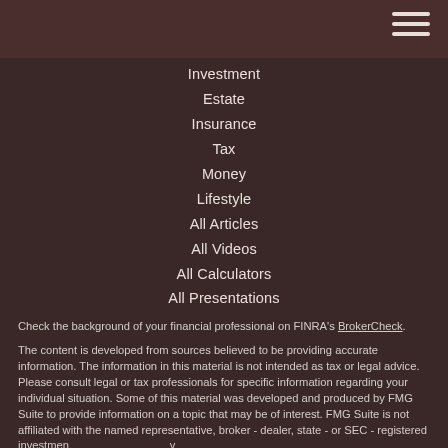Investment
Estate
Insurance
Tax
Money
Lifestyle
All Articles
All Videos
All Calculators
All Presentations
Check the background of your financial professional on FINRA's BrokerCheck.
The content is developed from sources believed to be providing accurate information. The information in this material is not intended as tax or legal advice. Please consult legal or tax professionals for specific information regarding your individual situation. Some of this material was developed and produced by FMG Suite to provide information on a topic that may be of interest. FMG Suite is not affiliated with the named representative, broker - dealer, state - or SEC - registered investment advisory firm. The opinions expressed and material provided are for general information, and should not be considered a solicitation for the purchase or sale of any security.
We take protecting your data and privacy very seriously. As of January 1, 2020 the